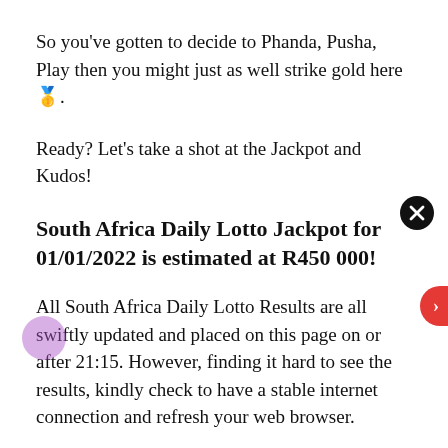So you've gotten to decide to Phanda, Pusha, Play then you might just as well strike gold here 🥇.
Ready? Let's take a shot at the Jackpot and Kudos!
South Africa Daily Lotto Jackpot for 01/01/2022 is estimated at R450 000!
All South Africa Daily Lotto Results are all swiftly updated and placed on this page on or after 21:15. However, finding it hard to see the results, kindly check to have a stable internet connection and refresh your web browser.